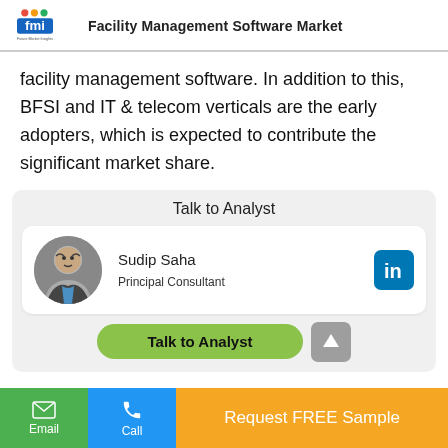Facility Management Software Market
facility management software. In addition to this, BFSI and IT & telecom verticals are the early adopters, which is expected to contribute the significant market share.
Talk to Analyst
[Figure (photo): Circular profile photo of Sudip Saha, Principal Consultant]
Sudip Saha
Principal Consultant
Talk to Analyst
Email   Call   Request FREE Sample